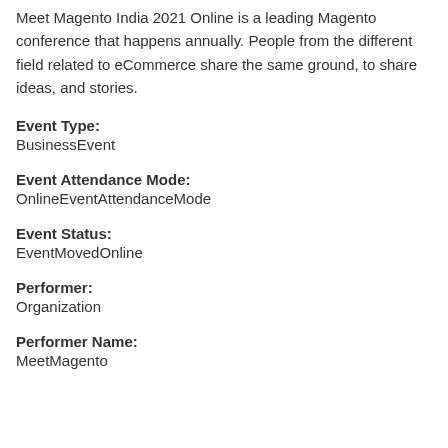Meet Magento India 2021 Online is a leading Magento conference that happens annually. People from the different field related to eCommerce share the same ground, to share ideas, and stories.
Event Type:
BusinessEvent
Event Attendance Mode:
OnlineEventAttendanceMode
Event Status:
EventMovedOnline
Performer:
Organization
Performer Name:
MeetMagento